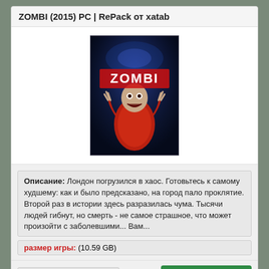ZOMBI (2015) PC | RePack от xatab
[Figure (photo): Game cover art for ZOMBI showing a zombie figure with red jacket and the ZOMBI logo]
Описание: Лондон погрузился в хаос. Готовьтесь к самому худшему: как и было предсказано, на город пало проклятие. Второй раз в истории здесь разразилась чума. Тысячи людей гибнут, но смерть - не самое страшное, что может произойти с заболевшими... Вам...
размер игры: (10.59 GB)
Добавлено: 18-08-2015
Скачать торрент
Battlefield Hardline: Digital Deluxe Edition (2015) PC | RePack от xatab